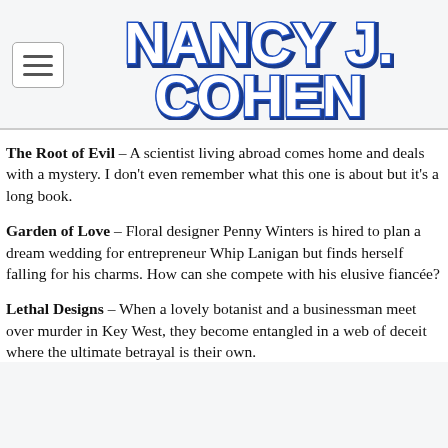[Figure (logo): Nancy J. Cohen author logo in large blue block letters with white fill and dark blue outline/shadow effect]
The Root of Evil – A scientist living abroad comes home and deals with a mystery. I don't even remember what this one is about but it's a long book.
Garden of Love – Floral designer Penny Winters is hired to plan a dream wedding for entrepreneur Whip Lanigan but finds herself falling for his charms. How can she compete with his elusive fiancée?
Lethal Designs – When a lovely botanist and a businessman meet over murder in Key West, they become entangled in a web of deceit where the ultimate betrayal is their own.